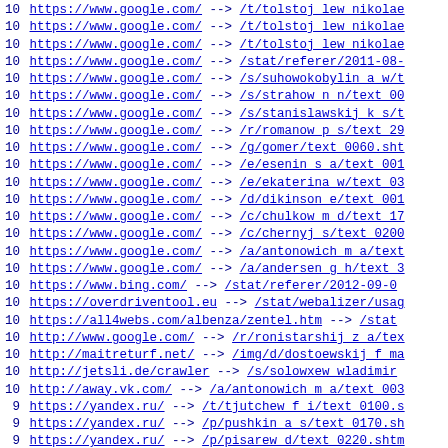10 https://www.google.com/ --> /t/tolstoj_lew_nikolae
10 https://www.google.com/ --> /t/tolstoj_lew_nikolae
10 https://www.google.com/ --> /t/tolstoj_lew_nikolae
10 https://www.google.com/ --> /stat/referer/2011-08-
10 https://www.google.com/ --> /s/suhowokobylin_a_w/t
10 https://www.google.com/ --> /s/strahow_n_n/text_00
10 https://www.google.com/ --> /s/stanislawskij_k_s/t
10 https://www.google.com/ --> /r/romanow_p_s/text_29
10 https://www.google.com/ --> /g/gomer/text_0060.sht
10 https://www.google.com/ --> /e/esenin_s_a/text_001
10 https://www.google.com/ --> /e/ekaterina_w/text_03
10 https://www.google.com/ --> /d/dikinson_e/text_001
10 https://www.google.com/ --> /c/chulkow_m_d/text_17
10 https://www.google.com/ --> /c/chernyj_s/text_0200
10 https://www.google.com/ --> /a/antonowich_m_a/text
10 https://www.google.com/ --> /a/andersen_g_h/text_3
10 https://www.bing.com/ --> /stat/referer/2012-09-0
10 https://overdriventool.eu --> /stat/webalizer/usag
10 https://all4webs.com/albenza/zentel.htm --> /stat/
10 http://www.google.com/ --> /r/ronistarshij_z_a/tex
10 http://maitreturf.net/ --> /img/d/dostoewskij_f_ma
10 http://jetsli.de/crawler --> /s/solowxew_wladimir
10 http://away.vk.com/ --> /a/antonowich_m_a/text_003
9 https://yandex.ru/ --> /t/tjutchew_f_i/text_0100.s
9 https://yandex.ru/ --> /p/pushkin_a_s/text_0170.sh
9 https://yandex.ru/ --> /p/pisarew_d/text_0220.shtm
9 https://yandex.ru/ --> /g/goncharow_i_a/text_0020
9 https://yandex.ru/ --> /g/gogolx_n_w/text_0140.sh
9 https://yandex.ru/ --> /g/gogolx_n_w/text_0070.sht
9 https://yandex.ru/ --> /e/esenin_s_a/text_0440.sh